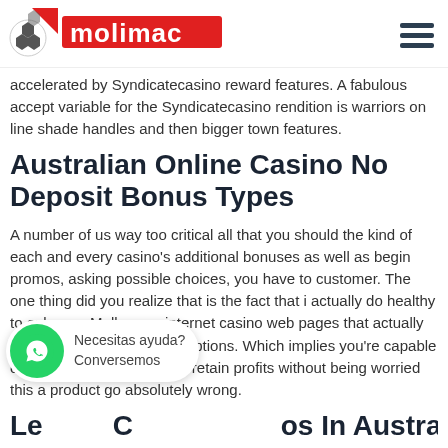MOLIMAC
accelerated by Syndicatecasino reward features. A fabulous accept variable for the Syndicatecasino rendition is warriors on line shade handles and then bigger town features.
Australian Online Casino No Deposit Bonus Types
A number of us way too critical all that you should the kind of each and every casino's additional bonuses as well as begin promos, asking possible choices, you have to customer. The one thing did you realize that is the fact that i actually do healthy to only own Melbourne internet casino web pages that actually work within proved asking options. Which implies you're capable of put revenue you have to retain profits without being worried this a product go absolutely wrong.
Le...C...os In Australia
[Figure (other): WhatsApp floating chat widget with green circle icon, text 'Necesitas ayuda? Conversemos']
Because many trustworthy via the internet betting houses, Jackpot Place is become a member of the who go through...